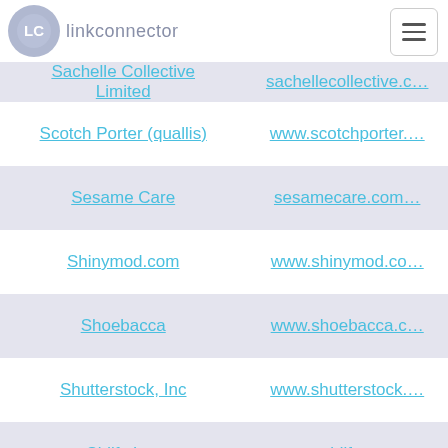linkconnector
| Name | URL |
| --- | --- |
| Sachelle Collective Limited | sachellecollective.c… |
| Scotch Porter (quallis) | www.scotchporter.… |
| Sesame Care | sesamecare.com… |
| Shinymod.com | www.shinymod.co… |
| Shoebacca | www.shoebacca.c… |
| Shutterstock, Inc | www.shutterstock.… |
| Sidify Inc. | www.sidify.com… |
| SignsOnTheCheap | www.signsonthecheap… |